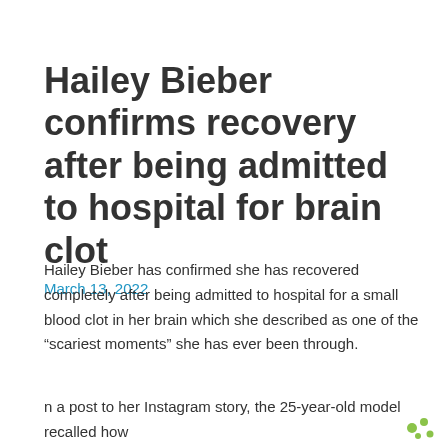Hailey Bieber confirms recovery after being admitted to hospital for brain clot
March 13, 2022
Hailey Bieber has confirmed she has recovered completely after being admitted to hospital for a small blood clot in her brain which she described as one of the “scariest moments” she has ever been through.
n a post to her Instagram story, the 25-year-old model recalled how